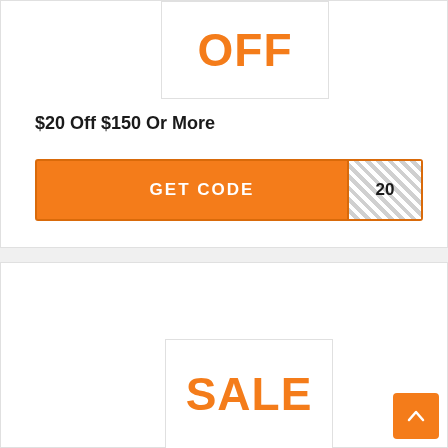[Figure (screenshot): Partial coupon image box showing 'OFF' in large orange bold text on white background with border]
$20 Off $150 Or More
[Figure (screenshot): Orange GET CODE button with hatched white code reveal box showing '20' on the right side]
[Figure (screenshot): Partial coupon image box showing 'SALE' in large orange bold text on white background with border]
[Figure (screenshot): Orange back-to-top arrow button in bottom right corner]